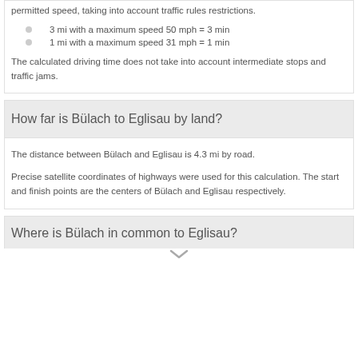This time is calculated for driving at the maximum permitted speed, taking into account traffic rules restrictions.
3 mi with a maximum speed 50 mph = 3 min
1 mi with a maximum speed 31 mph = 1 min
The calculated driving time does not take into account intermediate stops and traffic jams.
How far is Bülach to Eglisau by land?
The distance between Bülach and Eglisau is 4.3 mi by road.
Precise satellite coordinates of highways were used for this calculation. The start and finish points are the centers of Bülach and Eglisau respectively.
Where is Bülach in common to Eglisau?